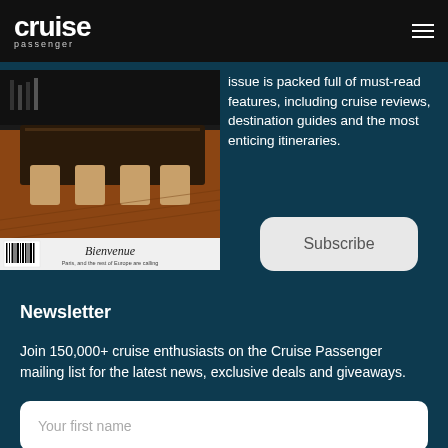cruise passenger
[Figure (photo): Magazine cover showing 'Bienvenue – Paris, and the rest of Europe are calling' with interior restaurant image and barcode]
issue is packed full of must-read features, including cruise reviews, destination guides and the most enticing itineraries.
Subscribe
Newsletter
Join 150,000+ cruise enthusiasts on the Cruise Passenger mailing list for the latest news, exclusive deals and giveaways.
Your first name